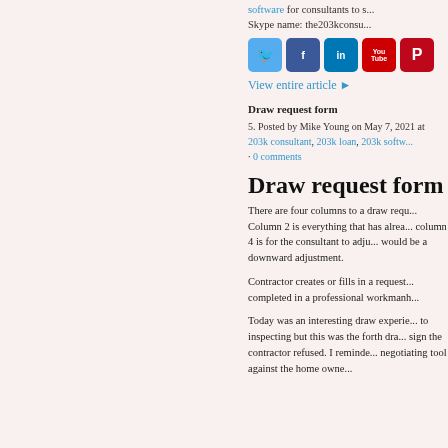software for consultants to s... Skype name: the203kconsu...
[Figure (infographic): Row of social media icons: Twitter (blue bird), Facebook (blue f), LinkedIn (blue in), YouTube (red You Tube), Pinterest (red P)]
View entire article ►
Draw request form
5. Posted by Mike Young on May 7, 2021 at 203k consultant, 203k loan, 203k softw... • 0 comments
Draw request form
There are four columns to a draw requ... Column 2 is everything that has alrea... column 4 is for the consultant to adju... would be a downward adjustment.
Contractor creates or fills in a request... completed in a professional workmanh...
Today was an interesting draw experie... to inspecting but this was the forth dra... sign the contractor refused. I reminde... negotiating tool against the home owne...